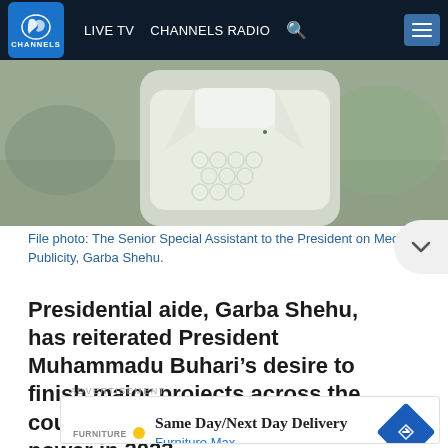LIVE TV  CHANNELS RADIO
[Figure (photo): File photo of a person wearing a white traditional Nigerian garment (agbada), shot from a news studio setting]
File photo: The Senior Special Assistant to the President on Media and Publicity, Garba Shehu.
Presidential aide, Garba Shehu, has reiterated President Muhammadu Buhari’s desire to finish major projects across the country before handing over power in 2023.
[Figure (infographic): Advertisement banner: Same Day/Next Day Delivery - Furniture Max]